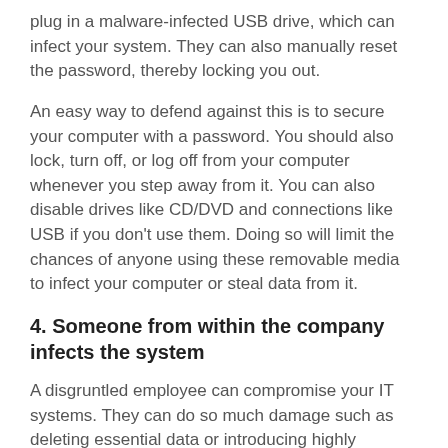plug in a malware-infected USB drive, which can infect your system. They can also manually reset the password, thereby locking you out.
An easy way to defend against this is to secure your computer with a password. You should also lock, turn off, or log off from your computer whenever you step away from it. You can also disable drives like CD/DVD and connections like USB if you don't use them. Doing so will limit the chances of anyone using these removable media to infect your computer or steal data from it.
4. Someone from within the company infects the system
A disgruntled employee can compromise your IT systems. They can do so much damage such as deleting essential data or introducing highly destructive malware.